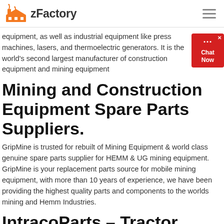zFactory
equipment, as well as industrial equipment like press machines, lasers, and thermoelectric generators. It is the world's second largest manufacturer of construction equipment and mining equipment
Mining and Construction Equipment Spare Parts Suppliers.
GripMine is trusted for rebuilt of Mining Equipment & world class genuine spare parts supplier for HEMM & UG mining equipment. GripMine is your replacement parts source for mobile mining equipment, with more than 10 years of experience, we have been providing the highest quality parts and components to the worlds mining and Hemm Industries.
IntracoParts – Tractor Equipment Supplier